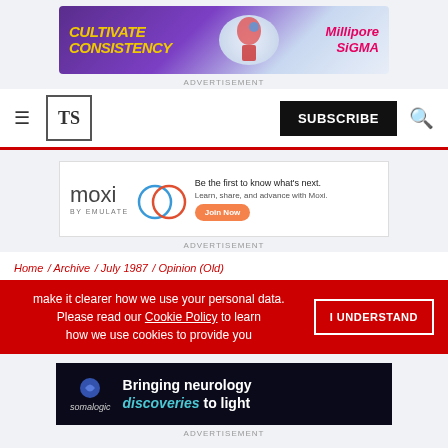[Figure (screenshot): MilliporeSigma Cultivate Consistency advertisement banner with purple background and yellow text]
ADVERTISEMENT
[Figure (logo): The Scientist TS logo with hamburger menu, SUBSCRIBE button, and search icon navigation bar]
[Figure (screenshot): Moxi by Emulate advertisement: Be the first to know what's next. Learn, share, and advance with Moxi. Join Now button.]
ADVERTISEMENT
Home / Archive / July 1987 / Opinion (Old)
[Figure (screenshot): Cookie consent / GDPR banner in red: make it clearer how we use your personal data. Please read our Cookie Policy to learn how we use cookies to provide you. I UNDERSTAND button.]
[Figure (screenshot): Somalogic advertisement: Bringing neurology discoveries to light]
ADVERTISEMENT